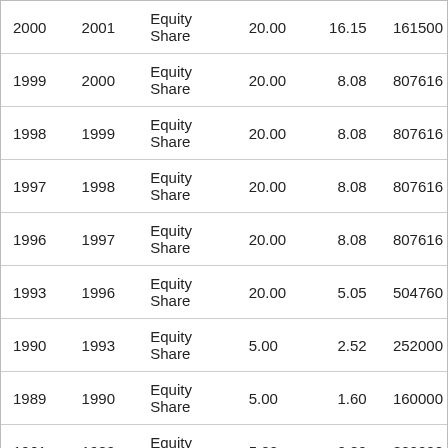| 2000 | 2001 | Equity Share | 20.00 | 16.15 | 161500 |
| 1999 | 2000 | Equity Share | 20.00 | 8.08 | 807616 |
| 1998 | 1999 | Equity Share | 20.00 | 8.08 | 807616 |
| 1997 | 1998 | Equity Share | 20.00 | 8.08 | 807616 |
| 1996 | 1997 | Equity Share | 20.00 | 8.08 | 807616 |
| 1993 | 1996 | Equity Share | 20.00 | 5.05 | 504760 |
| 1990 | 1993 | Equity Share | 5.00 | 2.52 | 252000 |
| 1989 | 1990 | Equity Share | 5.00 | 1.60 | 160000 |
| 1961 | 1989 | Equity Share | 5.00 | 0.80 | 800000 |
Budget 2022
Market Gainers
Market Losers